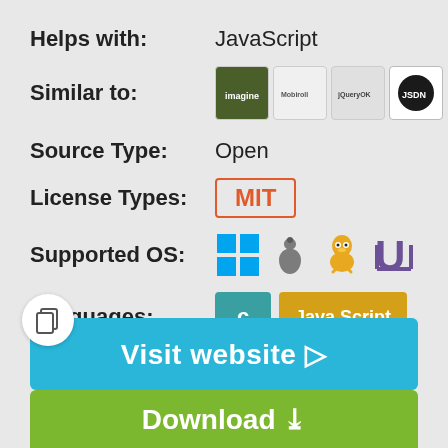Helps with: JavaScript
Similar to: [icons] More...
Source Type: Open
License Types: MIT
Supported OS: Windows, macOS, Linux, Ubuntu
Languages: C, Java Script
[Figure (screenshot): Visit website button (blue) and Download button (green) at bottom of page]
[Figure (illustration): Copy icon in white circle at bottom left]